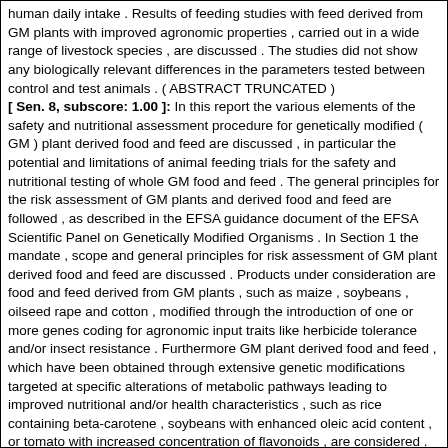human daily intake . Results of feeding studies with feed derived from GM plants with improved agronomic properties , carried out in a wide range of livestock species , are discussed . The studies did not show any biologically relevant differences in the parameters tested between control and test animals . ( ABSTRACT TRUNCATED )
[ Sen. 8, subscore: 1.00 ]: In this report the various elements of the safety and nutritional assessment procedure for genetically modified ( GM ) plant derived food and feed are discussed , in particular the potential and limitations of animal feeding trials for the safety and nutritional testing of whole GM food and feed . The general principles for the risk assessment of GM plants and derived food and feed are followed , as described in the EFSA guidance document of the EFSA Scientific Panel on Genetically Modified Organisms . In Section 1 the mandate , scope and general principles for risk assessment of GM plant derived food and feed are discussed . Products under consideration are food and feed derived from GM plants , such as maize , soybeans , oilseed rape and cotton , modified through the introduction of one or more genes coding for agronomic input traits like herbicide tolerance and/or insect resistance . Furthermore GM plant derived food and feed , which have been obtained through extensive genetic modifications targeted at specific alterations of metabolic pathways leading to improved nutritional and/or health characteristics , such as rice containing beta-carotene , soybeans with enhanced oleic acid content , or tomato with increased concentration of flavonoids , are considered . The safety assessment of GM plants and derived food and feed follows a comparative approach , ie the food and feed are compared with their non-GM counterparts in order to identify intended and unintended ( unexpected ) differences which subsequently are assessed with respect to their potential impact on the environment , safety for humans and animals , and nutritional quality . Key elements of the assessment